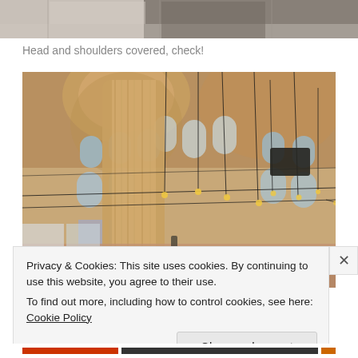[Figure (photo): Partial view of a photo showing a decorative ceiling or architectural detail, cropped at top of page]
Head and shoulders covered, check!
[Figure (photo): Interior of the Blue Mosque (Sultan Ahmed Mosque) in Istanbul, showing ornate domed ceilings, stained glass windows, large pillars, hanging light fixtures, and worshippers on the carpeted floor]
Privacy & Cookies: This site uses cookies. By continuing to use this website, you agree to their use.
To find out more, including how to control cookies, see here: Cookie Policy